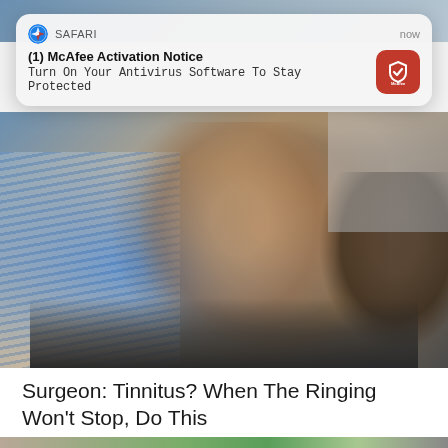[Figure (screenshot): Top portion of a person's photo visible behind a Safari notification card]
[Figure (screenshot): Safari browser push notification card for McAfee Activation Notice with McAfee red icon]
[Figure (photo): Close-up photo of a man tilting his head, wearing a blue striped shirt]
Surgeon: Tinnitus? When The Ringing Won't Stop, Do This
Tinnitus Solution
[Figure (photo): Bottom portion of a food photo showing green vegetables on a stone surface]